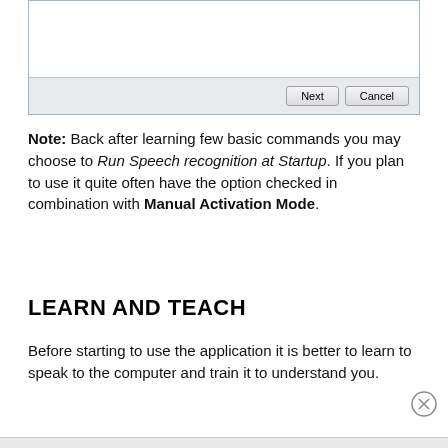[Figure (screenshot): Bottom portion of a Windows dialog box showing a white content area and a gray footer bar with 'Next' and 'Cancel' buttons]
Note: Back after learning few basic commands you may choose to Run Speech recognition at Startup. If you plan to use it quite often have the option checked in combination with Manual Activation Mode.
LEARN AND TEACH
Before starting to use the application it is better to learn to speak to the computer and train it to understand you.